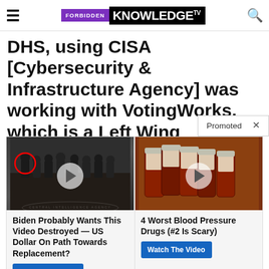FORBIDDEN KNOWLEDGE TV
DHS, using CISA [Cybersecurity & Infrastructure Agency] was working with VotingWorks, which is a Left Wing organization, a Soros
Promoted ×
[Figure (screenshot): Two advertisement thumbnail images side by side. Left: group photo at CIA seal with red circle highlighting a figure, play button overlay. Right: prescription pill bottles with play button overlay.]
Biden Probably Wants This Video Destroyed — US Dollar On Path Towards Replacement?
Watch The Video
4 Worst Blood Pressure Drugs (#2 Is Scary)
Watch The Video